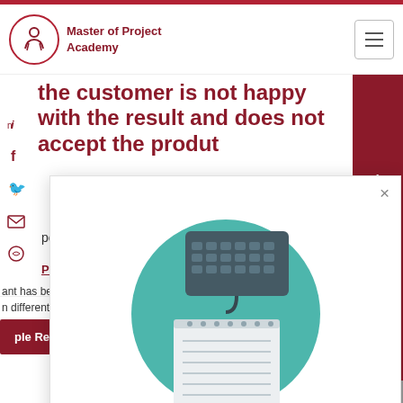Master of Project Academy
the customer is not happy with the result and does not accept the product
port
Project Manager
ant has been in different areas.
ple Report
[Figure (illustration): Modal popup with illustration of keyboard and notepad on teal circular background]
end of the project.
360 Degree PM Mock Interview
question